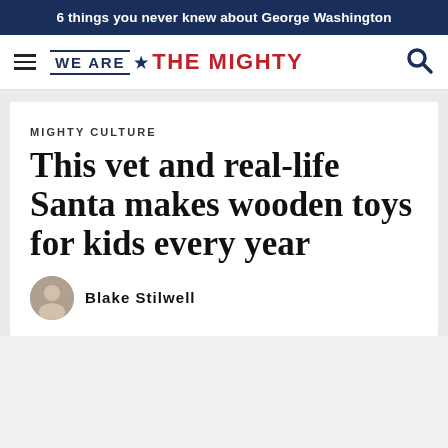6 things you never knew about George Washington
[Figure (logo): We Are The Mighty website logo with hamburger menu and search icon]
MIGHTY CULTURE
This vet and real-life Santa makes wooden toys for kids every year
Blake Stilwell